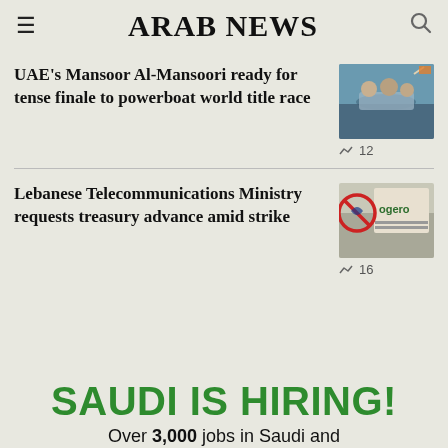ARAB NEWS
UAE's Mansoor Al-Mansoori ready for tense finale to powerboat world title race
[Figure (photo): People in a powerboat race, celebratory scene on water]
12
Lebanese Telecommunications Ministry requests treasury advance amid strike
[Figure (photo): Ogero telecommunications sign/logo on a building]
16
[Figure (infographic): Advertisement: SAUDI IS HIRING! Over 3,000 jobs in Saudi and...]